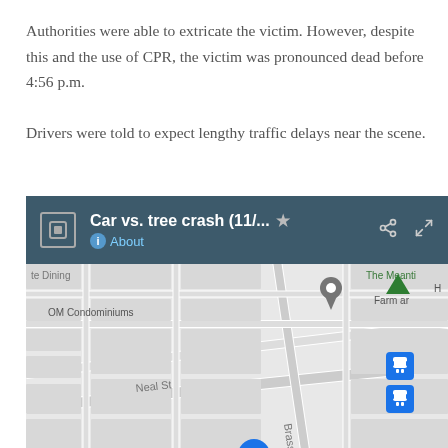Authorities were able to extricate the victim. However, despite this and the use of CPR, the victim was pronounced dead before 4:56 p.m.

Drivers were told to expect lengthy traffic delays near the scene.
[Figure (map): Google Maps screenshot showing a car vs. tree crash location (11/...) with a header bar titled 'Car vs. tree crash (11/...' with About link, share and expand icons. Map shows street grid with Neal St, Brass St, Stokes Dr, OM Condominiums, The Meanti, Farm ar labels. Blue location pin visible near center-bottom, gray location pin near OM Condominiums, green triangle upper right, two blue bus stop icons on right side.]